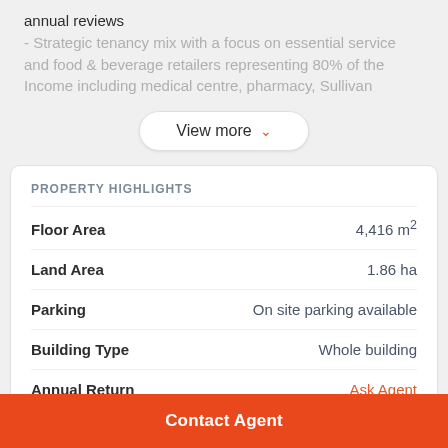annual reviews
- Strategic tenancy mix with a focus on essential service and food & beverage retailers representing 80% of the Income including medical centre, pharmacy, Sullivan
View more
PROPERTY HIGHLIGHTS
| Property | Value |
| --- | --- |
| Floor Area | 4,416 m² |
| Land Area | 1.86 ha |
| Parking | On site parking available |
| Building Type | Whole building |
| Annual Return | Ask Agent |
| Availability | Tenanted |
| Property ID | 2017848635 |
Contact Agent